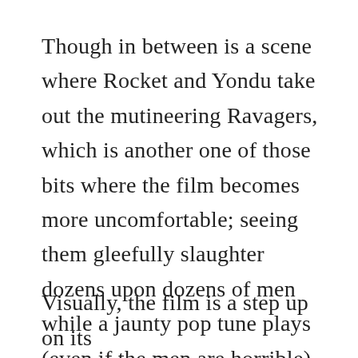Though in between is a scene where Rocket and Yondu take out the mutineering Ravagers, which is another one of those bits where the film becomes more uncomfortable; seeing them gleefully slaughter dozens upon dozens of men while a jaunty pop tune plays (even if the men are horrible) feels tonally jarring, and not in a fun way.
Visually, the film is a step up on its